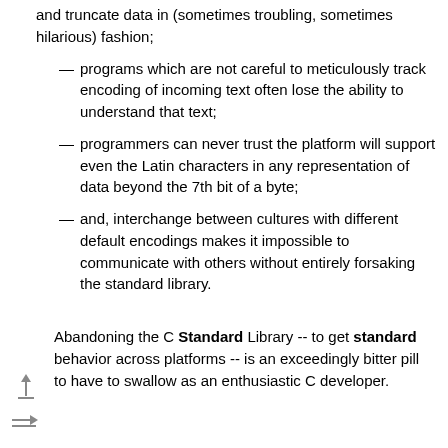and truncate data in (sometimes troubling, sometimes hilarious) fashion;
programs which are not careful to meticulously track encoding of incoming text often lose the ability to understand that text;
programmers can never trust the platform will support even the Latin characters in any representation of data beyond the 7th bit of a byte;
and, interchange between cultures with different default encodings makes it impossible to communicate with others without entirely forsaking the standard library.
Abandoning the C Standard Library -- to get standard behavior across platforms -- is an exceedingly bitter pill to have to swallow as an enthusiastic C developer.